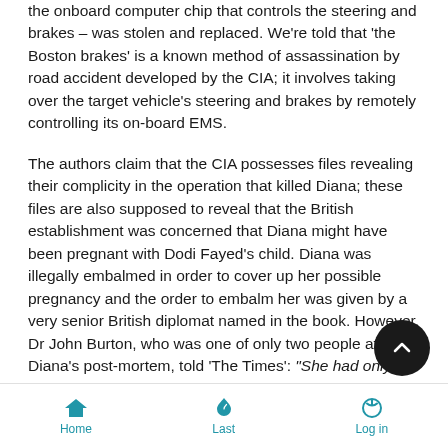the onboard computer chip that controls the steering and brakes – was stolen and replaced. We're told that 'the Boston brakes' is a known method of assassination by road accident developed by the CIA; it involves taking over the target vehicle's steering and brakes by remotely controlling its on-board EMS.
The authors claim that the CIA possesses files revealing their complicity in the operation that killed Diana; these files are also supposed to reveal that the British establishment was concerned that Diana might have been pregnant with Dodi Fayed's child. Diana was illegally embalmed in order to cover up her possible pregnancy and the order to embalm her was given by a very senior British diplomat named in the book. However, Dr John Burton, who was one of only two people at Diana's post-mortem, told 'The Times': "She had only met Dodi six weeks before. Even if she got pregnant the first time she met him... shook hands and got her pregnant, the baby would only be 5 weeks old at most. It doesn't stop everybody wanting to believe
Home   Last   Log in